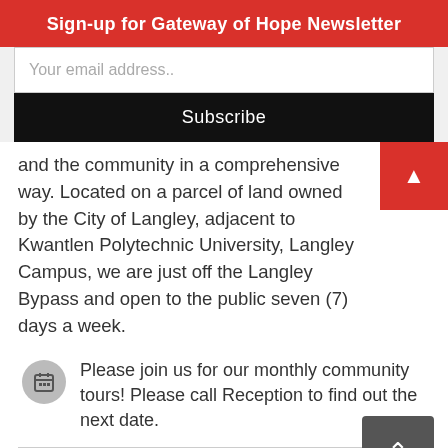Sign-up for Gateway of Hope Newsletter
Your email address..
Subscribe
and the community in a comprehensive way. Located on a parcel of land owned by the City of Langley, adjacent to Kwantlen Polytechnic University, Langley Campus, we are just off the Langley Bypass and open to the public seven (7) days a week.
Please join us for our monthly community tours! Please call Reception to find out the next date.
Who do we serve?